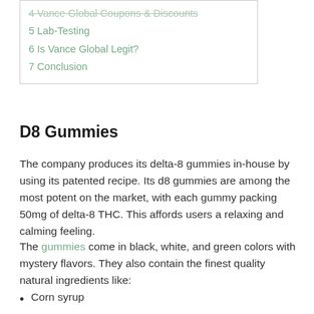4 Vance Global Coupons & Discounts
5 Lab-Testing
6 Is Vance Global Legit?
7 Conclusion
D8 Gummies
The company produces its delta-8 gummies in-house by using its patented recipe. Its d8 gummies are among the most potent on the market, with each gummy packing 50mg of delta-8 THC. This affords users a relaxing and calming feeling.
The gummies come in black, white, and green colors with mystery flavors. They also contain the finest quality natural ingredients like:
Corn syrup